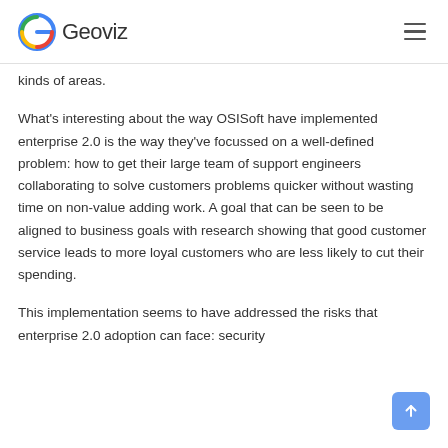Geoviz
kinds of areas.
What's interesting about the way OSISoft have implemented enterprise 2.0 is the way they've focussed on a well-defined problem: how to get their large team of support engineers collaborating to solve customers problems quicker without wasting time on non-value adding work. A goal that can be seen to be aligned to business goals with research showing that good customer service leads to more loyal customers who are less likely to cut their spending.
This implementation seems to have addressed the risks that enterprise 2.0 adoption can face: security